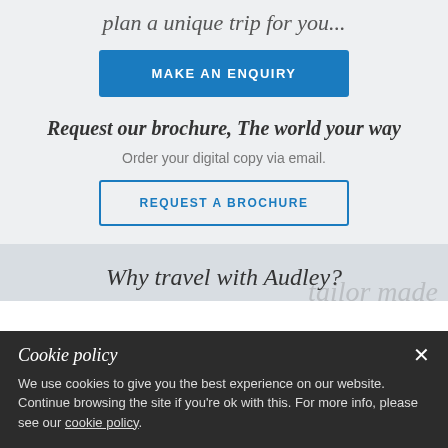plan a unique trip for you...
MAKE AN ENQUIRY
Request our brochure, The world your way
Order your digital copy via email.
REQUEST A BROCHURE
Why travel with Audley?
Cookie policy
We use cookies to give you the best experience on our website. Continue browsing the site if you're ok with this. For more info, please see our cookie policy.